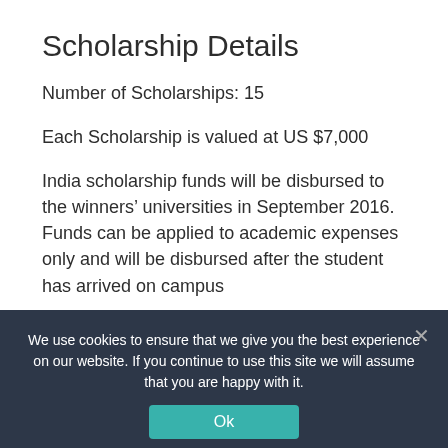Scholarship Details
Number of Scholarships: 15
Each Scholarship is valued at US $7,000
India scholarship funds will be disbursed to the winners’ universities in September 2016. Funds can be applied to academic expenses only and will be disbursed after the student has arrived on campus
Eligibility
We use cookies to ensure that we give you the best experience on our website. If you continue to use this site we will assume that you are happy with it.